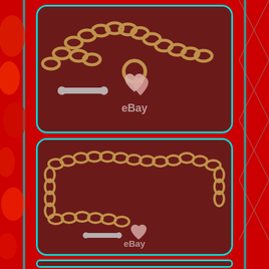[Figure (photo): Close-up product photo of a gold belcher/rolo chain bracelet with a toggle clasp and two frosted rose quartz heart charms, displayed on a dark red/maroon background. eBay watermark visible. Photo framed with cyan/teal rounded border.]
[Figure (photo): Full-length product photo of a gold belcher/rolo chain necklace laid out on a dark red/maroon background, showing the toggle clasp and a small heart charm at the bottom. eBay watermark visible. Photo framed with cyan/teal rounded border.]
[Figure (photo): Partial view of a third product photo at the bottom edge, partially cropped, with cyan/teal rounded border frame visible.]